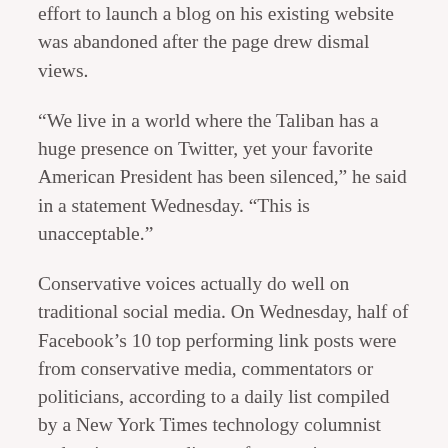effort to launch a blog on his existing website was abandoned after the page drew dismal views.
“We live in a world where the Taliban has a huge presence on Twitter, yet your favorite American President has been silenced,” he said in a statement Wednesday. “This is unacceptable.”
Conservative voices actually do well on traditional social media. On Wednesday, half of Facebook’s 10 top performing link posts were from conservative media, commentators or politicians, according to a daily list compiled by a New York Times technology columnist and an internet studies professor using Facebook’s own data.
TMTG has not set its sights low. In addition to the Truth Social app, which is expected to soft-launch next month with a nationwide rollout early next year, the company says it is planning a video-on-demand service dubbed TMTG+ that will feature entertainment programming, news and podcasts.
One slide in a TMTG presentation on its website includes a graphic of its potential competitors, which range from Facebook